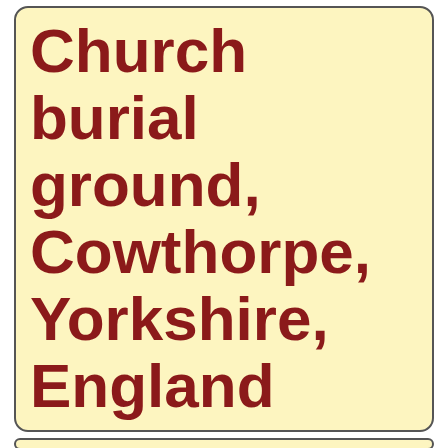Church burial ground, Cowthorpe, Yorkshire, England
St Michael's Church burial ground
Cowthorpe
Yorkshire, England
[Figure (photo): Photo of St Michael's Church tower with battlements/merlons, trees, and a cross or post, against a partly cloudy blue sky]